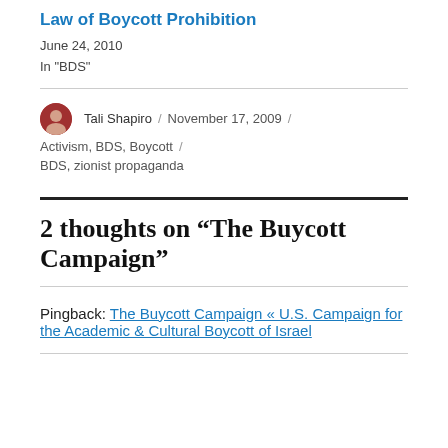Law of Boycott Prohibition
June 24, 2010
In "BDS"
Tali Shapiro / November 17, 2009 / Activism, BDS, Boycott / BDS, zionist propaganda
2 thoughts on “The Buycott Campaign”
Pingback: The Buycott Campaign « U.S. Campaign for the Academic & Cultural Boycott of Israel